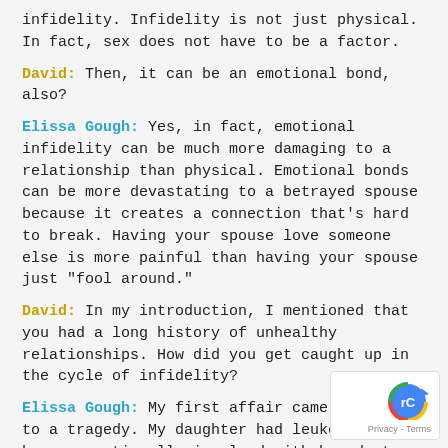infidelity. Infidelity is not just physical. In fact, sex does not have to be a factor.
David: Then, it can be an emotional bond, also?
Elissa Gough: Yes, in fact, emotional infidelity can be much more damaging to a relationship than physical. Emotional bonds can be more devastating to a betrayed spouse because it creates a connection that's hard to break. Having your spouse love someone else is more painful than having your spouse just "fool around."
David: In my introduction, I mentioned that you had a long history of unhealthy relationships. How did you get caught up in the cycle of infidelity?
Elissa Gough: My first affair came about due to a tragedy. My daughter had leukemia and I became emotionally involved with her doctor. I thought he save her; he became very close to my family. I felt very